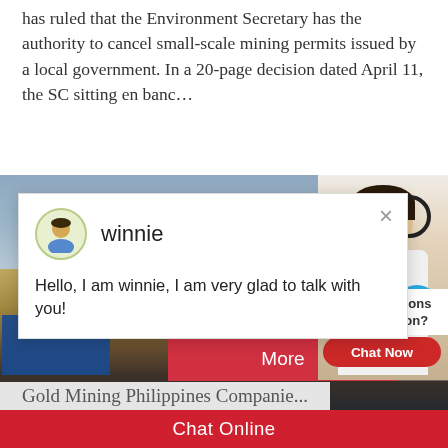has ruled that the Environment Secretary has the authority to cancel small-scale mining permits issued by a local government. In a 20-page decision dated April 11, the SC sitting en banc…
[Figure (photo): Mining site photo showing sky, machinery including conveyor belt and green equipment, and blue shipping containers. Overlaid with a white chat popup widget showing avatar named 'winnie' and message 'Hello, I am winnie, I am very glad to talk with you!'. Also shows a live agent panel with a woman wearing a headset, notification circle with '1', 'Need questions & suggestion?' text, and 'Chat Now' red button.]
Gold Mining Philippines Companie...
Chat Online